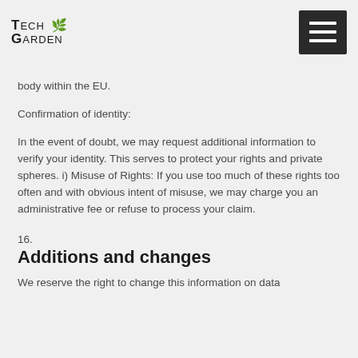Tech Garden [logo]
body within the EU.
Confirmation of identity:
In the event of doubt, we may request additional information to verify your identity. This serves to protect your rights and private spheres. i) Misuse of Rights: If you use too much of these rights too often and with obvious intent of misuse, we may charge you an administrative fee or refuse to process your claim.
16.
Additions and changes
We reserve the right to change this information on data